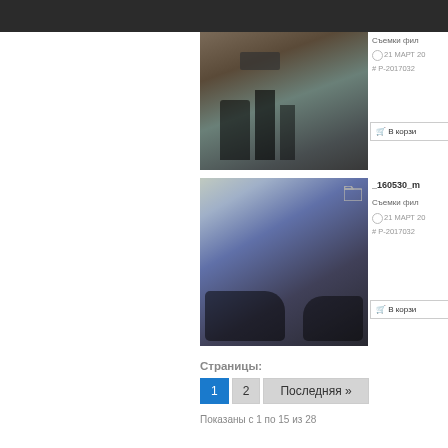[Figure (photo): Film shooting scene indoors with camera crew and equipment in a studio room]
Съемки фил
21 МАРТ 20
# P-2017032
В корзи
[Figure (photo): Film shooting scene with people gathered around on floor in a hotel room or apartment]
_160530_m
Съемки фил
21 МАРТ 20
# P-2017032
В корзи
Страницы:
Показаны с 1 по 15 из 28